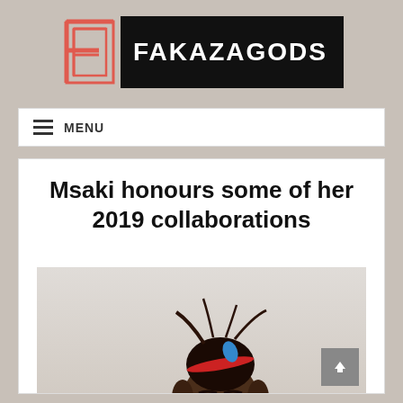[Figure (logo): Fakazagods logo: stylized red/coral letter F on left, black rectangle with white 'FAKAZAGODS' text on right]
MENU
Msaki honours some of her 2019 collaborations
[Figure (photo): Portrait photo of a young Black woman with braided hair styled up in a high bun with a red hair band and blue accessory, looking directly at camera against light background]